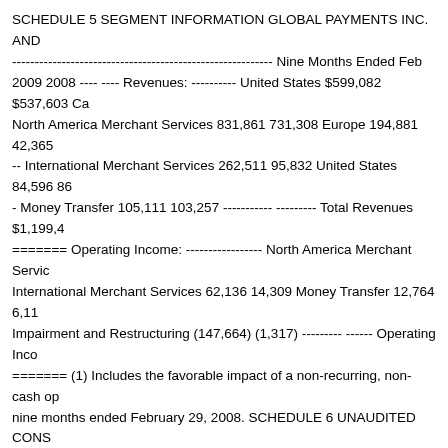SCHEDULE 5 SEGMENT INFORMATION GLOBAL PAYMENTS INC. AND ---- Nine Months Ended Feb 2009 2008 ---- ---- Revenues: --------- United States $599,082 $537,603 Ca-- North America Merchant Services 831,861 731,308 Europe 194,881 42,365-- International Merchant Services 262,511 95,832 United States 84,596 86- Money Transfer 105,111 103,257 ---------- -------- Total Revenues $1,199,4- ======= Operating Income: ---------------- North America Merchant Service International Merchant Services 62,136 14,309 Money Transfer 12,764 6,11 Impairment and Restructuring (147,664) (1,317) --------- ------ Operating Inco- ======= (1) Includes the favorable impact of a non-recurring, non-cash op nine months ended February 29, 2008. SCHEDULE 6 UNAUDITED CONSO-- INCOME GLOBAL PAYMENTS INC. AND SUBSIDIARIES Reconciliations t Restructuring Charges and an Operating Tax Item from Normalized Results data) ---------------------------------------------------------------- Nine Months E- ------------------------ ---------------------------------------- Restructuring and Operating Tax Normalized Item(2) GAAP ---------- -------------- ---- ---------- ------ ---- Revenues $- $930,397 ---------------------------------------------------------------- Operat 445,248 - 445,248 350,483 - 350,483 Sales, general and administrative 512 )394,023 Impairment and restructuring - 147,664 147,664 - 1,317 1,317 --- 147,664 1,105,499 751,554 (5,731) 745,823 -------- -------- ----------- -------- -----